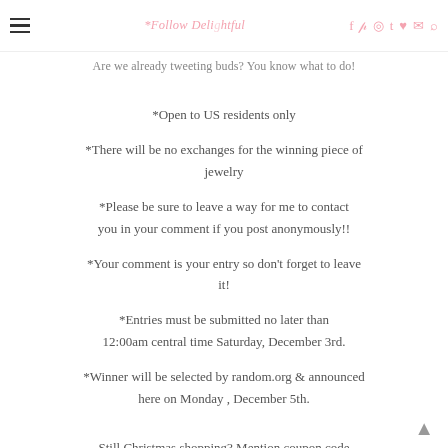*Follow [Blog Name] on social media
Are we already tweeting buds? You know what to do!
*Open to US residents only
*There will be no exchanges for the winning piece of jewelry
*Please be sure to leave a way for me to contact you in your comment if you post anonymously!!
*Your comment is your entry so don't forget to leave it!
*Entries must be submitted no later than 12:00am central time Saturday, December 3rd.
*Winner will be selected by random.org & announced here on Monday , December 5th.
Still Christmas shopping? Mention coupon code